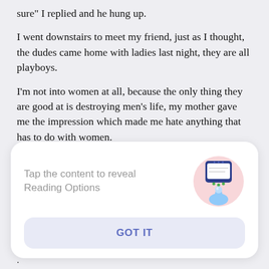sure" I replied and he hung up.
I went downstairs to meet my friend, just as I thought, the dudes came home with ladies last night, they are all playboys.
I'm not into women at all, because the only thing they are good at is destroying men's life, my mother gave me the impression which made me hate anything that has to do with women.
[Figure (screenshot): A modal UI overlay with light background. Contains text 'Tap the content to reveal Reading Options', an illustration of a hand tapping a phone screen (pink circle background), and a 'GOT IT' button in blue on a light lavender background.]